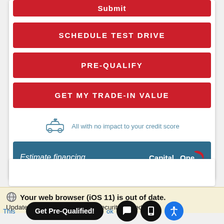Submit
SCHEDULE TEST DRIVE
PRE-QUALIFY
GET MY TRADE-IN VALUE
All with no impact to your credit score
Estimate financing
Your web browser (iOS 11) is out of date.
Update your browser for more security, speed and
This
Get Pre-Qualified!